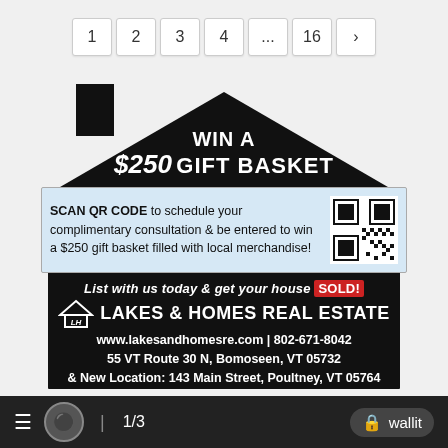1 2 3 4 ... 16 >
[Figure (infographic): House-shaped black advertisement for Lakes & Homes Real Estate. Contains 'WIN A $250 GIFT BASKET' headline, QR code with text 'SCAN QR CODE to schedule your complimentary consultation & be entered to win a $250 gift basket filled with local merchandise!', tagline 'List with us today & get your house SOLD!', company name 'LAKES & HOMES REAL ESTATE', and contact info: www.lakesandhomesre.com | 802-671-8042, 55 VT Route 30 N, Bomoseen, VT 05732, & New Location: 143 Main Street, Poultney, VT 05764]
≡  [user icon]  1/3  [spacer]  [lock] wallit